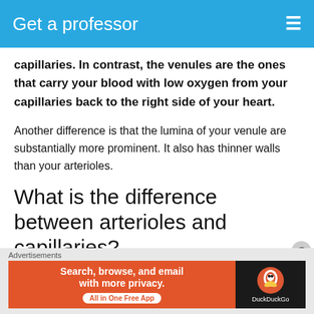Get a professor
capillaries. In contrast, the venules are the ones that carry your blood with low oxygen from your capillaries back to the right side of your heart.
Another difference is that the lumina of your venule are substantially more prominent. It also has thinner walls than your arterioles.
What is the difference between arterioles and capillaries?
[Figure (screenshot): Advertisement banner: DuckDuckGo ad with orange left section reading 'Search, browse, and email with more privacy. All in One Free App' and dark right section with DuckDuckGo logo and duck icon.]